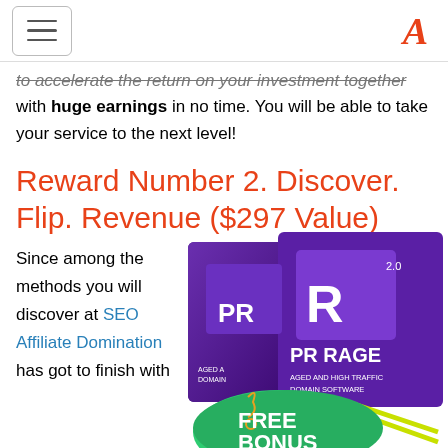[hamburger menu] [A logo]
to accelerate the return on your investment together with huge earnings in no time. You will be able to take your service to the next level!
Reward Number 2. Discover. Flip. Revenue ($297 Value)
Since among the methods you will discover at SEO Affiliate Domination has got to finish with
[Figure (photo): Product box images of PR RAGE 2.0 Aged and High Traffic Domain Software with a green FREE BONUS badge]